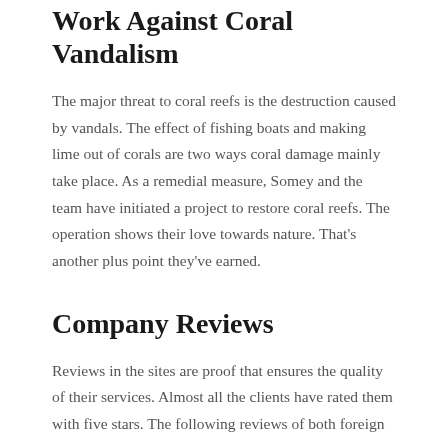Work Against Coral Vandalism
The major threat to coral reefs is the destruction caused by vandals. The effect of fishing boats and making lime out of corals are two ways coral damage mainly take place. As a remedial measure, Somey and the team have initiated a project to restore coral reefs. The operation shows their love towards nature. That’s another plus point they’ve earned.
Company Reviews
Reviews in the sites are proof that ensures the quality of their services. Almost all the clients have rated them with five stars. The following reviews of both foreign